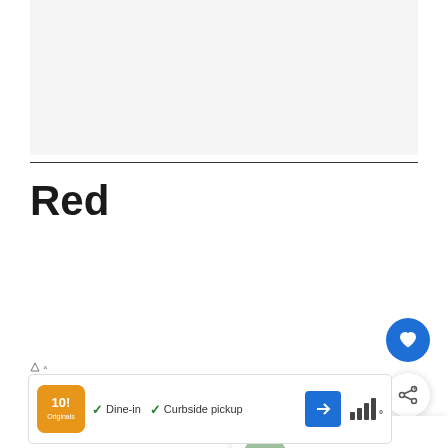[Figure (other): Large white/light gray image placeholder area at top of page]
Red
[Figure (other): Blue circular heart/favorite button on right side]
[Figure (other): White circular share button with share icon on right side]
[Figure (other): What's Next panel showing circular thumbnail image and text '10 Good-Looking...' with blue arrow label 'WHAT'S NEXT']
[Figure (other): Advertisement bar at bottom: orange restaurant logo, checkmarks for Dine-in and Curbside pickup, blue direction arrow icon, signal bars icon]